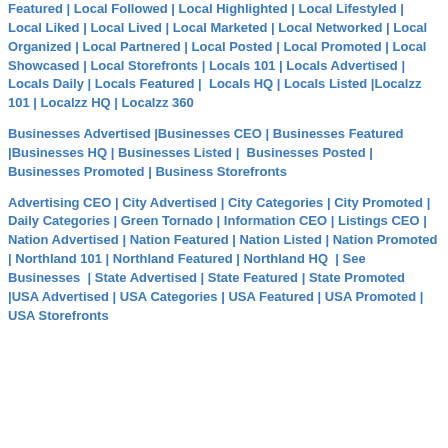Featured | Local Followed | Local Highlighted | Local Lifestyled | Local Liked | Local Lived | Local Marketed | Local Networked | Local Organized | Local Partnered | Local Posted | Local Promoted | Local Showcased | Local Storefronts | Locals 101 | Locals Advertised | Locals Daily | Locals Featured | Locals HQ | Locals Listed |Localzz 101 | Localzz HQ | Localzz 360
Businesses Advertised |Businesses CEO | Businesses Featured |Businesses HQ | Businesses Listed | Businesses Posted | Businesses Promoted | Business Storefronts
Advertising CEO | City Advertised | City Categories | City Promoted | Daily Categories | Green Tornado | Information CEO | Listings CEO | Nation Advertised | Nation Featured | Nation Listed | Nation Promoted | Northland 101 | Northland Featured | Northland HQ | See Businesses | State Advertised | State Featured | State Promoted |USA Advertised | USA Categories | USA Featured | USA Promoted | USA Storefronts